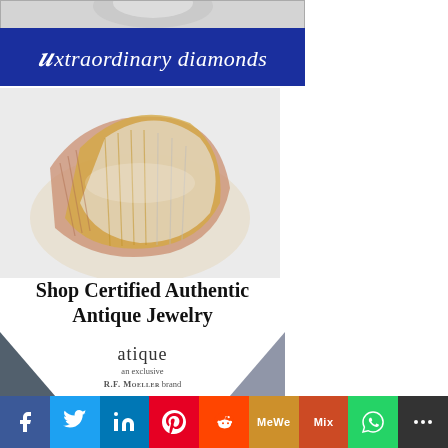[Figure (photo): Diamond ring image at top, partially visible]
[Figure (illustration): Blue banner with cursive text 'Extraordinary diamonds' on dark blue background]
[Figure (photo): Tri-color gold bracelet (rose gold, yellow gold, white gold) with ribbed texture]
Shop Certified Authentic Antique Jewelry
[Figure (logo): Atique brand logo with dark triangles on sides. Text: 'atique' / 'an exclusive' / 'R.F. Moeller brand']
[Figure (infographic): Social media share bar with icons: Facebook, Twitter, LinkedIn, Pinterest, Reddit, MeWe, Mix, WhatsApp, More]